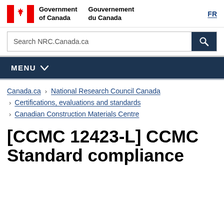Government of Canada / Gouvernement du Canada | FR
Search NRC.Canada.ca
MENU
Canada.ca > National Research Council Canada > Certifications, evaluations and standards > Canadian Construction Materials Centre
[CCMC 12423-L] CCMC Standard compliance